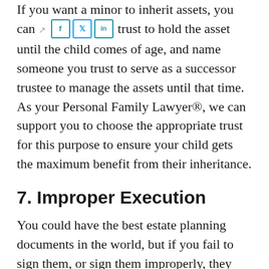If you want a minor to inherit assets, you can create a special trust to hold the asset until the child comes of age, and name someone you trust to serve as a successor trustee to manage the assets until that time. As your Personal Family Lawyer®, we can support you to choose the appropriate trust for this purpose to ensure your child gets the maximum benefit from their inheritance.
7. Improper Execution
You could have the best estate planning documents in the world, but if you fail to sign them, or sign them improperly, they will fail.